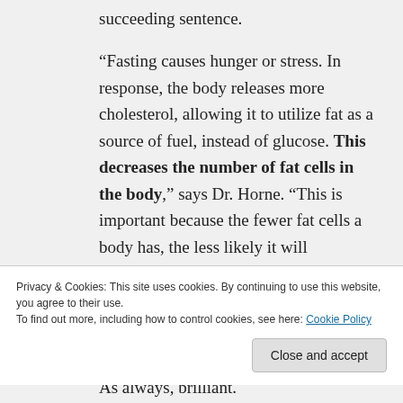succeeding sentence.
“Fasting causes hunger or stress. In response, the body releases more cholesterol, allowing it to utilize fat as a source of fuel, instead of glucose. This decreases the number of fat cells in the body,” says Dr. Horne. “This is important because the fewer fat cells a body has, the less likely it will experience insulin resistance, or diabetes.”
Privacy & Cookies: This site uses cookies. By continuing to use this website, you agree to their use.
To find out more, including how to control cookies, see here: Cookie Policy
As always, brilliant.